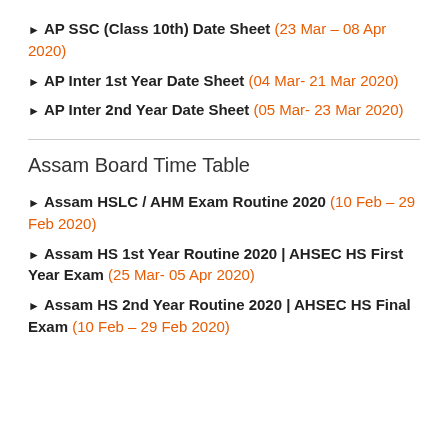AP SSC (Class 10th) Date Sheet (23 Mar – 08 Apr 2020)
AP Inter 1st Year Date Sheet (04 Mar- 21 Mar 2020)
AP Inter 2nd Year Date Sheet (05 Mar- 23 Mar 2020)
Assam Board Time Table
Assam HSLC / AHM Exam Routine 2020 (10 Feb – 29 Feb 2020)
Assam HS 1st Year Routine 2020 | AHSEC HS First Year Exam (25 Mar- 05 Apr 2020)
Assam HS 2nd Year Routine 2020 | AHSEC HS Final Exam (10 Feb – 29 Feb 2020)